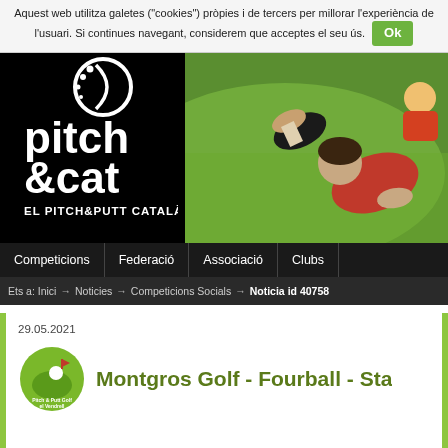Aquest web utilitza galetes ("cookies") pròpies i de tercers per millorar l'experiència de l'usuari. Si continues navegant, considerem que acceptes el seu ús. Ok
[Figure (logo): Pitch & Cat - El Pitch&Putt Català logo on black background, white text]
[Figure (photo): Children playing pitch and putt golf on green grass, aerial/tilted view]
Competicions | Federació | Associació | Clubs
Ets a: Inici → Noticies → Competicions Socials → Noticia id 40758
29.05.2021
[Figure (logo): Pitch & Putt Golf el Vendrell logo - small circular green golf logo]
Montgros Golf - Fourball - Sta